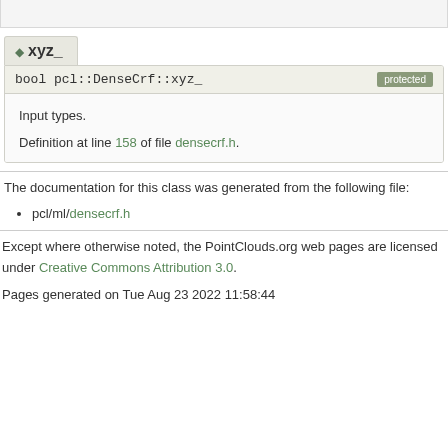xyz_
bool pcl::DenseCrf::xyz_   protected
Input types.
Definition at line 158 of file densecrf.h.
The documentation for this class was generated from the following file:
pcl/ml/densecrf.h
Except where otherwise noted, the PointClouds.org web pages are licensed under Creative Commons Attribution 3.0.
Pages generated on Tue Aug 23 2022 11:58:44